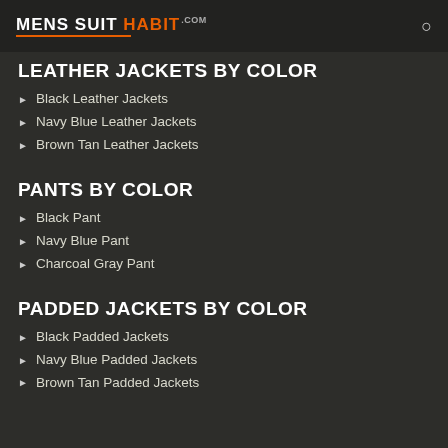MENS SUIT HABIT .com
LEATHER JACKETS BY COLOR
Black Leather Jackets
Navy Blue Leather Jackets
Brown Tan Leather Jackets
PANTS BY COLOR
Black Pant
Navy Blue Pant
Charcoal Gray Pant
PADDED JACKETS BY COLOR
Black Padded Jackets
Navy Blue Padded Jackets
Brown Tan Padded Jackets